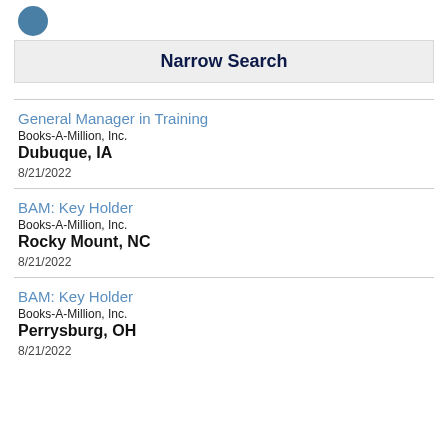Narrow Search
General Manager in Training
Books-A-Million, Inc.
Dubuque, IA
8/21/2022
BAM: Key Holder
Books-A-Million, Inc.
Rocky Mount, NC
8/21/2022
BAM: Key Holder
Books-A-Million, Inc.
Perrysburg, OH
8/21/2022